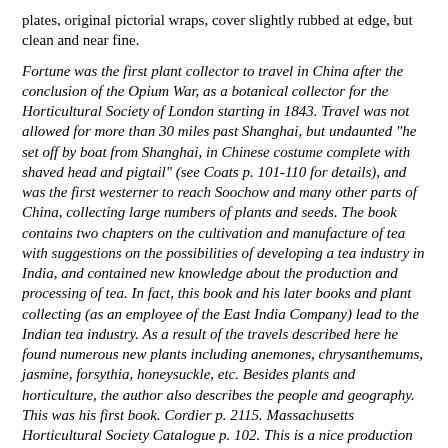plates, original pictorial wraps, cover slightly rubbed at edge, but clean and near fine.
Fortune was the first plant collector to travel in China after the conclusion of the Opium War, as a botanical collector for the Horticultural Society of London starting in 1843. Travel was not allowed for more than 30 miles past Shanghai, but undaunted "he set off by boat from Shanghai, in Chinese costume complete with shaved head and pigtail" (see Coats p. 101-110 for details), and was the first westerner to reach Soochow and many other parts of China, collecting large numbers of plants and seeds. The book contains two chapters on the cultivation and manufacture of tea with suggestions on the possibilities of developing a tea industry in India, and contained new knowledge about the production and processing of tea. In fact, this book and his later books and plant collecting (as an employee of the East India Company) lead to the Indian tea industry. As a result of the travels described here he found numerous new plants including anemones, chrysanthemums, jasmine, forsythia, honeysuckle, etc. Besides plants and horticulture, the author also describes the people and geography. This was his first book. Cordier p. 2115. Massachusetts Horticultural Society Catalogue p. 102. This is a nice production reprinting the first edition, which is very scarce.
US$50. bookID # 10034